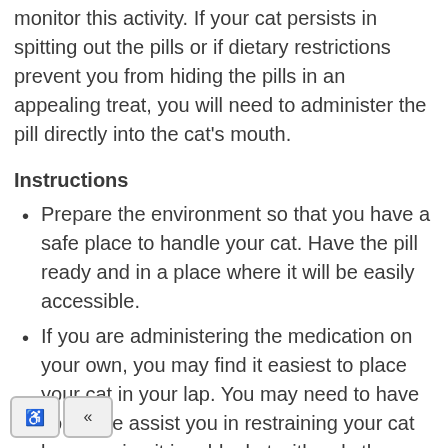monitor this activity. If your cat persists in spitting out the pills or if dietary restrictions prevent you from hiding the pills in an appealing treat, you will need to administer the pill directly into the cat's mouth.
Instructions
Prepare the environment so that you have a safe place to handle your cat. Have the pill ready and in a place where it will be easily accessible.
If you are administering the medication on your own, you may find it easiest to place your cat in your lap. You may need to have someone assist you in restraining your cat by wrapping it in a blanket with only the head exposed.